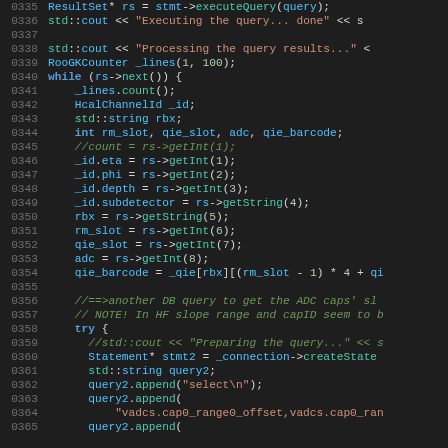[Figure (screenshot): Source code editor screenshot showing C++ code lines 0335–0365, dark theme with syntax highlighting. Code involves database query execution, result set processing, and variable assignments.]